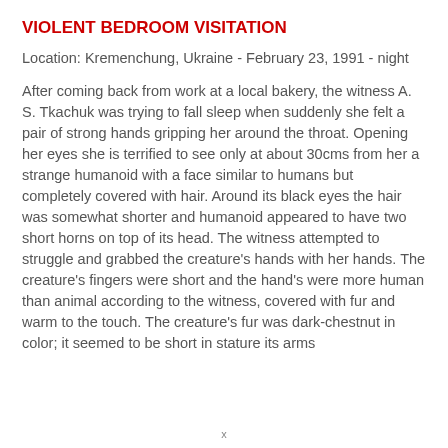VIOLENT BEDROOM VISITATION
Location: Kremenchung, Ukraine - February 23, 1991 - night
After coming back from work at a local bakery, the witness A. S. Tkachuk was trying to fall sleep when suddenly she felt a pair of strong hands gripping her around the throat. Opening her eyes she is terrified to see only at about 30cms from her a strange humanoid with a face similar to humans but completely covered with hair. Around its black eyes the hair was somewhat shorter and humanoid appeared to have two short horns on top of its head. The witness attempted to struggle and grabbed the creature's hands with her hands. The creature's fingers were short and the hand's were more human than animal according to the witness, covered with fur and warm to the touch. The creature's fur was dark-chestnut in color; it seemed to be short in stature its arms
x